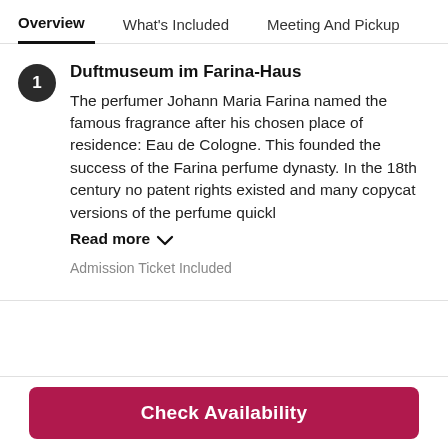Overview   What's Included   Meeting And Pickup
Duftmuseum im Farina-Haus
The perfumer Johann Maria Farina named the famous fragrance after his chosen place of residence: Eau de Cologne. This founded the success of the Farina perfume dynasty. In the 18th century no patent rights existed and many copycat versions of the perfume quickl
Read more
Admission Ticket Included
Check Availability